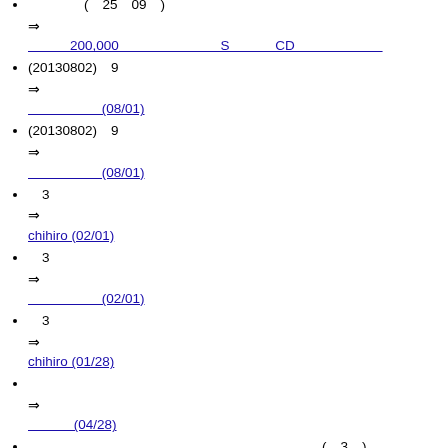(　25　09　)
⇒ 　　　200,000　　　　　　　　　　　 S　　　　　 CD
(20130802)　9
⇒ 　　　　　(08/01)
(20130802)　9
⇒ 　　　　　(08/01)
3
⇒ chihiro (02/01)
3
⇒ 　　　　　(02/01)
3
⇒ chihiro (01/28)
⇒ 　　　(04/28)
(　3　)
⇒ 　　　　　(01/17)